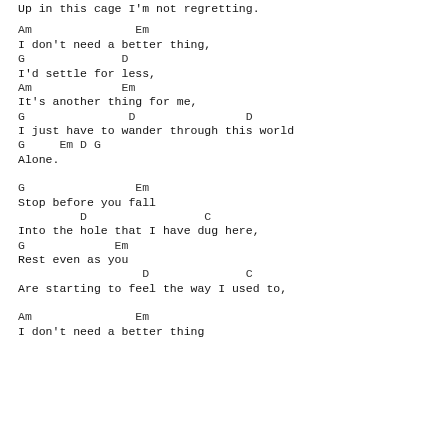Up in this cage I'm not regretting.
Am               Em
I don't need a better thing,
G              D
I'd settle for less,
Am             Em
It's another thing for me,
G               D                D
I just have to wander through this world
G     Em D G
Alone.
G                Em
Stop before you fall
         D                 C
Into the hole that I have dug here,
G             Em
Rest even as you
                  D              C
Are starting to feel the way I used to,
Am               Em
I don't need a better thing